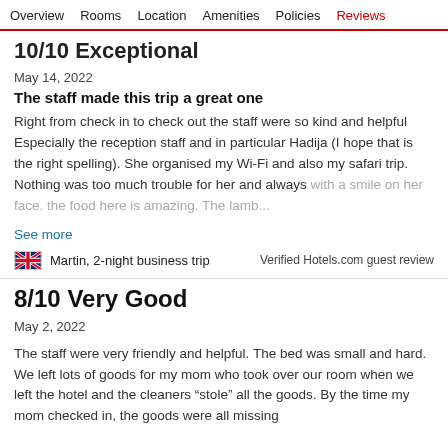Overview   Rooms   Location   Amenities   Policies   Reviews
10/10 Exceptional
May 14, 2022
The staff made this trip a great one
Right from check in to check out the staff were so kind and helpful Especially the reception staff and in particular Hadija (I hope that is the right spelling). She organised my Wi-Fi and also my safari trip. Nothing was too much trouble for her and always with a smile on her face. the food here is amazing. The lamb...
See more
Martin, 2-night business trip
Verified Hotels.com guest review
8/10 Very Good
May 2, 2022
The staff were very friendly and helpful. The bed was small and hard. We left lots of goods for my mom who took over our room when we left the hotel and the cleaners “stole” all the goods. By the time my mom checked in, the goods were all missing